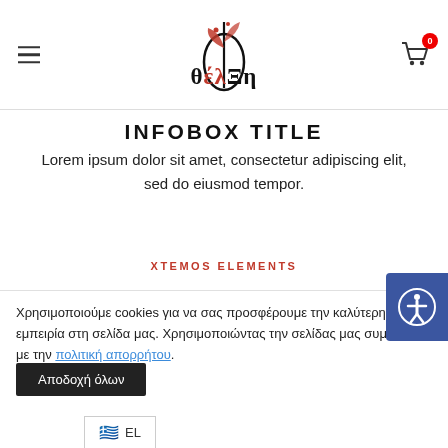Navigation header with hamburger menu, logo (θέλΞη), and cart icon with badge 0
INFOBOX TITLE
Lorem ipsum dolor sit amet, consectetur adipiscing elit, sed do eiusmod tempor.
XTEMOS ELEMENTS
INFOBOX WITH ICON BACKGROUND
Χρησιμοποιούμε cookies για να σας προσφέρουμε την καλύτερη δυνατή εμπειρία στη σελίδα μας. Χρησιμοποιώντας την σελίδας μας συμφωνείτε με την πολιτική απορρήτου.
Αποδοχή όλων
EL